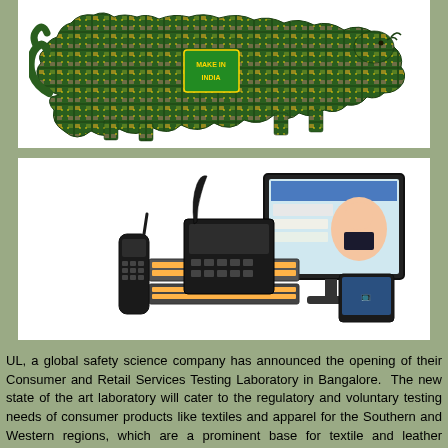[Figure (illustration): A lion silhouette made of electronic circuit board components with 'Make in India' label in green on its body]
[Figure (photo): Photo of office/business communication equipment including IP phones, video conferencing equipment, a computer monitor showing a woman on a customer service call]
UL, a global safety science company has announced the opening of their Consumer and Retail Services Testing Laboratory in Bangalore. The new state of the art laboratory will cater to the regulatory and voluntary testing needs of consumer products like textiles and apparel for the Southern and Western regions, which are a prominent base for textile and leather industries. This is the second such facility